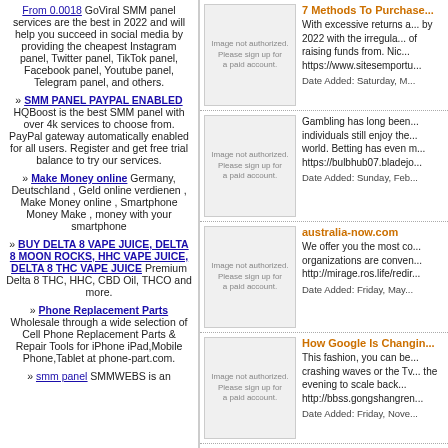From 0.0018 GoViral SMM panel services are the best in 2022 and will help you succeed in social media by providing the cheapest Instagram panel, Twitter panel, TikTok panel, Facebook panel, Youtube panel, Telegram panel, and others.
» SMM PANEL PAYPAL ENABLED HQBoost is the best SMM panel with over 4k services to choose from. PayPal gateway automatically enabled for all users. Register and get free trial balance to try our services.
» Make Money online Germany, Deutschland , Geld online verdienen , Make Money online , Smartphone Money Make , money with your smartphone
» BUY DELTA 8 VAPE JUICE, DELTA 8 MOON ROCKS, HHC VAPE JUICE, DELTA 8 THC VAPE JUICE Premium Delta 8 THC, HHC, CBD Oil, THCO and more.
» Phone Replacement Parts Wholesale through a wide selection of Cell Phone Replacement Parts & Repair Tools for iPhone iPad,Mobile Phone,Tablet at phone-part.com.
» smm panel SMMWEBS is an
[Figure (other): Image not authorized placeholder thumbnail 1]
7 Methods To Purchase... With excessive returns a... by 2022 with the irregula... of raising funds from. Nic... https://www.sitesemportu... Date Added: Saturday, M...
[Figure (other): Image not authorized placeholder thumbnail 2]
Gambling has long been... individuals still enjoy the... world. Betting has even m... https://bulbhub07.bladejo... Date Added: Sunday, Feb...
[Figure (other): Image not authorized placeholder thumbnail 3]
australia-now.com We offer you the most co... organizations are conven... http://mirage.ros.life/redir... Date Added: Friday, May...
[Figure (other): Image not authorized placeholder thumbnail 4]
How Google Is Changin... This fashion, you can be... crashing waves or the Tv... the evening to scale back... http://bbss.gongshangren... Date Added: Friday, Nove...
[Figure (other): Image not authorized placeholder thumbnail 5]
How To Obtain The Rig... They derive power from a... discover more, to safetu...